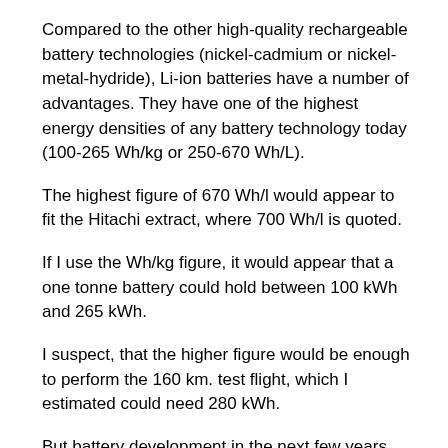Compared to the other high-quality rechargeable battery technologies (nickel-cadmium or nickel-metal-hydride), Li-ion batteries have a number of advantages. They have one of the highest energy densities of any battery technology today (100-265 Wh/kg or 250-670 Wh/L).
The highest figure of 670 Wh/l would appear to fit the Hitachi extract, where 700 Wh/l is quoted.
If I use the Wh/kg figure, it would appear that a one tonne battery could hold between 100 kWh and 265 kWh.
I suspect, that the higher figure would be enough to perform the 160 km. test flight, which I estimated could need 280 kWh.
But battery development in the next few years will be on the side of Roei Ganzarski's vision.